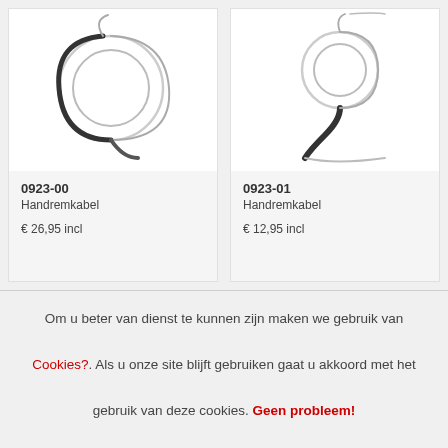[Figure (photo): Photo of handbrake cable 0923-00, coiled with black outer sheath and silver ends]
0923-00
Handremkabel

€ 26,95 incl
[Figure (photo): Photo of handbrake cable 0923-01, shorter coil with black outer sheath and silver ends]
0923-01
Handremkabel

€ 12,95 incl
Om u beter van dienst te kunnen zijn maken we gebruik van Cookies?. Als u onze site blijft gebruiken gaat u akkoord met het gebruik van deze cookies. Geen probleem!